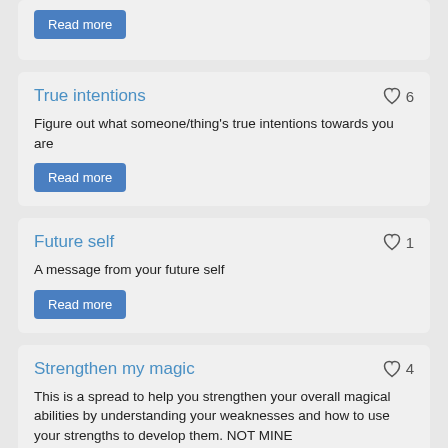[Figure (screenshot): Partial card at top with a blue Read more button visible]
True intentions
Figure out what someone/thing's true intentions towards you are
Read more
Future self
A message from your future self
Read more
Strengthen my magic
This is a spread to help you strengthen your overall magical abilities by understanding your weaknesses and how to use your strengths to develop them. NOT MINE
Read more